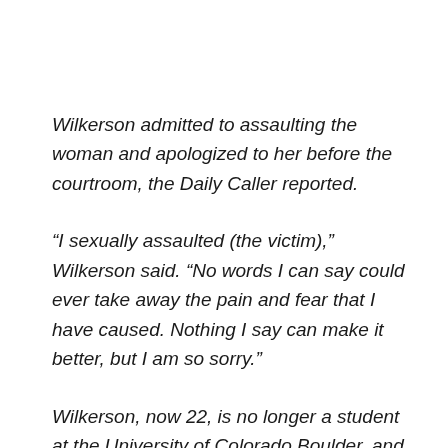Wilkerson admitted to assaulting the woman and apologized to her before the courtroom, the Daily Caller reported.
“I sexually assaulted (the victim),” Wilkerson said. “No words I can say could ever take away the pain and fear that I have caused. Nothing I say can make it better, but I am so sorry.”
Wilkerson, now 22, is no longer a student at the University of Colorado Boulder, and was ordered to avoid the campus while his victim finishes school